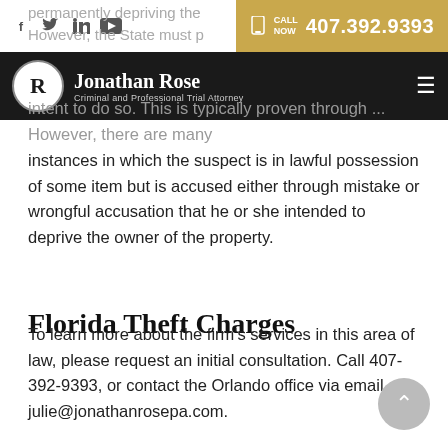Jonathan Rose | Criminal and Professional Trial Attorney | CALL NOW 407.392.9393
instances in which the suspect is in lawful possession of some item but is accused either through mistake or wrongful accusation that he or she intended to deprive the owner of the property.
Florida Theft Charges
To learn more about the firm's services in this area of law, please request an initial consultation. Call 407-392-9393, or contact the Orlando office via email at julie@jonathanrosepa.com.